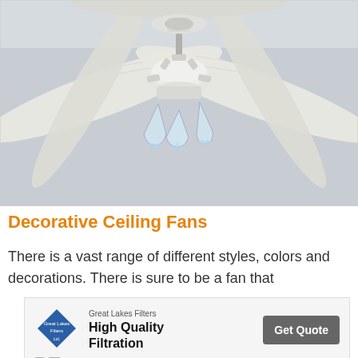[Figure (photo): A white decorative ceiling fan with light kit featuring clear glass shades, photographed from below against a gray/blue ceiling background.]
Decorative Ceiling Fans
There is a vast range of different styles, colors and decorations. There is sure to be a fan that
[Figure (screenshot): Advertisement for Great Lakes Filters featuring a blue diamond logo, text 'High Quality Filtration', and a dark gray 'Get Quote' button. Ad controls (X and play icon) are shown at the bottom.]